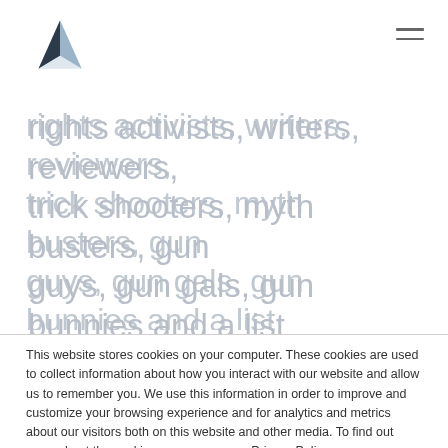[logo and navigation]
rights activists, writers, reviewers, trick shooters, myth busters, gun guys, gun gals, gun bunnies and a list
This website stores cookies on your computer. These cookies are used to collect information about how you interact with our website and allow us to remember you. We use this information in order to improve and customize your browsing experience and for analytics and metrics about our visitors both on this website and other media. To find out more about the cookies we use, see our Privacy Policy.
If you decline, your information won't be tracked when you visit this website. A single cookie will be used in your browser to remember your preference not to be tracked.
Accept  Decline